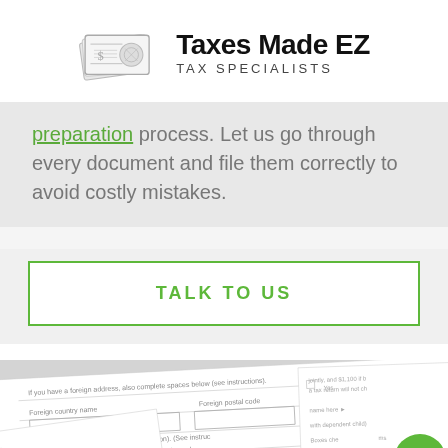[Figure (logo): Taxes Made EZ logo with illustrated money bills icon and text 'Taxes Made EZ TAX SPECIALISTS']
preparation process. Let us go through every document and file them correctly to avoid costly mistakes.
TALK TO US
[Figure (photo): Close-up photo of a tax form (1040) showing fields and text, slightly angled on a white background. A green phone button appears in the bottom right corner.]